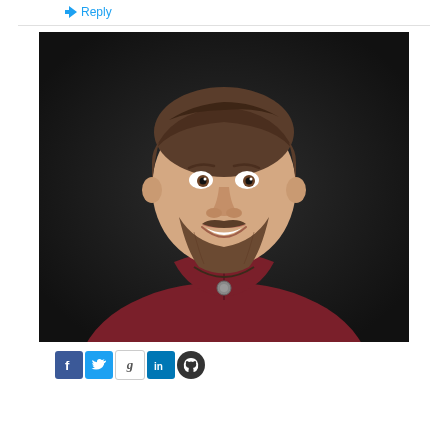Reply
[Figure (photo): Portrait of a smiling young man with a beard, wearing a dark red/maroon henley shirt and a necklace, photographed against a dark background.]
[Figure (infographic): Row of social media icons: Facebook (blue f), Twitter (blue bird), Goodreads (g), LinkedIn (blue in), GitHub (black octocat)]